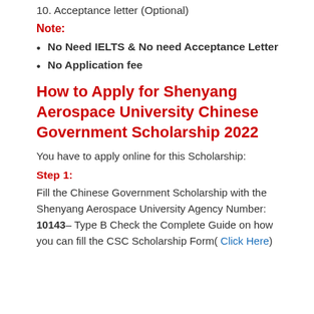10. Acceptance letter (Optional)
Note:
No Need IELTS & No need Acceptance Letter
No Application fee
How to Apply for Shenyang Aerospace University Chinese Government Scholarship 2022
You have to apply online for this Scholarship:
Step 1:
Fill the Chinese Government Scholarship with the Shenyang Aerospace University Agency Number: 10143– Type B Check the Complete Guide on how you can fill the CSC Scholarship Form( Click Here)